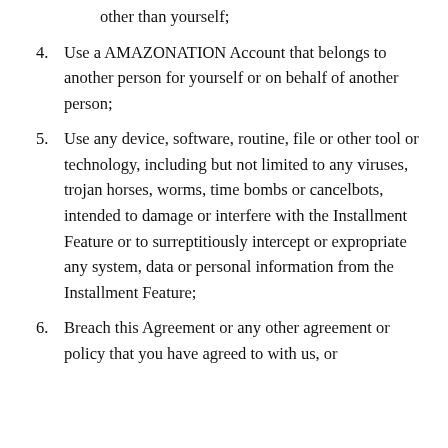other than yourself;
4. Use a AMAZONATION Account that belongs to another person for yourself or on behalf of another person;
5. Use any device, software, routine, file or other tool or technology, including but not limited to any viruses, trojan horses, worms, time bombs or cancelbots, intended to damage or interfere with the Installment Feature or to surreptitiously intercept or expropriate any system, data or personal information from the Installment Feature;
6. Breach this Agreement or any other agreement or policy that you have agreed to with us, or